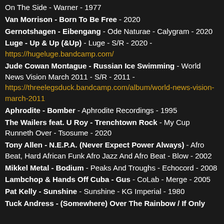On The Side - Warner - 1977
Van Morrison - Born To Be Free - 2020
Gernotshagen - Eibengang - Ode Naturae - Calygram - 2020
Luge - Up & Up (&Up) - Luge - S/R - 2020 - https://hugeluge.bandcamp.com/
Jude Cowan Montague - Russian Ice Swimming - World News Vision March 2011 - S/R - 2011 - https://threelegsduck.bandcamp.com/album/world-news-vision-march-2011
Aphrodite - Bomber - Aphrodite Recordings - 1995
The Wailers feat. U Roy - Trenchtown Rock - My Cup Runneth Over - Tsosume - 2020
Tony Allen - N.E.P.A. (Never Expect Power Always) - Afro Beat, Hard African Funk Afro Jazz And Afro Beat - Blow - 2002
Mikkel Metal - Bodium - Peaks And Troughs - Echocord - 2008
Lambchop & Hands Off Cuba - Gus - CoLab - Merge - 2005
Pat Kelly - Sunshine - Sunshine - KG Imperial - 1980
Tuck Andress - (Somewhere) Over The Rainbow / If Only